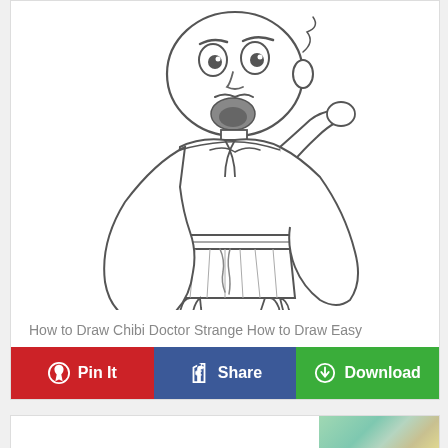[Figure (illustration): Line drawing of a chibi-style Doctor Strange character with a large head, beard, mustache, wearing a cape and tunic with a belt, boots, and one arm raised. The character is drawn in black ink on white background in a cute cartoon style.]
How to Draw Chibi Doctor Strange How to Draw Easy
Pin It
Share
Download
[Figure (photo): Partial thumbnail of another drawing tutorial image at the bottom of the page.]